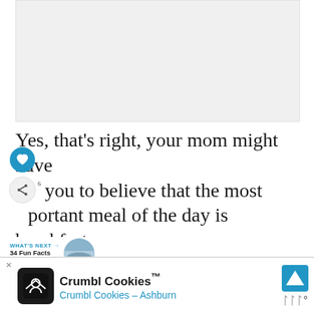[Figure (photo): Gray placeholder area for an image at the top of the page]
Yes, that's right, your mom might have led you to believe that the most important meal of the day is breakfast, but think again. The Greeks love their lunch so much that they go all out for them. This big meal consists of meats, bread, and salads and is eaten over the course of...
WHAT'S NEXT → 34 Fun Facts About...
[Figure (photo): Small circular thumbnail image for What's Next section]
Crumbl Cookies™ Crumbl Cookies - Ashburn